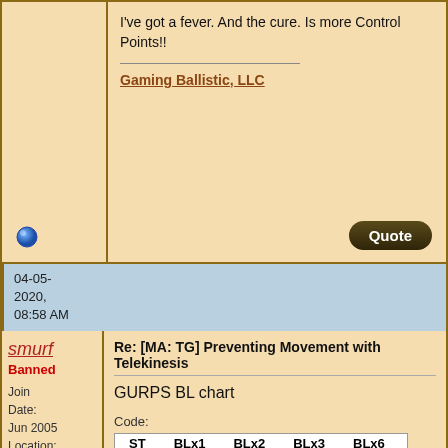I've got a fever. And the cure. Is more Control Points!!
Gaming Ballistic, LLC
04-05-2020, 08:58 AM
smurf
Banned
Join Date: Jun 2005 Location: Bristol
Re: [MA: TG] Preventing Movement with Telekinesis
GURPS BL chart
Code:
| ST | BLx1 | BLx2 | BLx3 | BLx6 |
| --- | --- | --- | --- | --- |
| 2 | 1 | 2 | 3 | 6 |
| 3 | 2 | 5 | 7 | 14 |
| 4 | 4 | 8 | 12 | 24 |
| 5 | 6 | 13 | 19 | 38 |
| 6 | 9 | 18 | 27 | 54 |
| 7 | 12 | 25 | 37 | 74 |
I tried to highlight the point TK can deal with small humanoids as high as 220lbs.
Overhead Lifting (see B15-16)